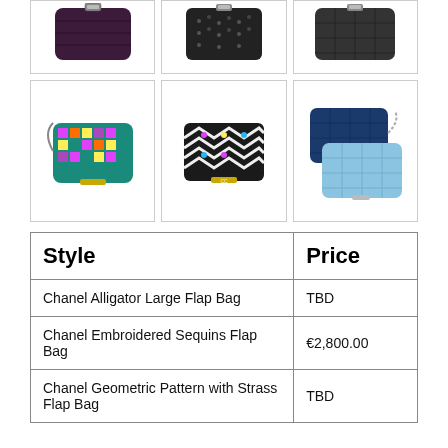[Figure (photo): Top row of three Chanel bag product images, partially cropped at top]
[Figure (photo): Middle row of three Chanel bag product images: embroidered multicolor flap bag, geometric black/white chevron flap bag, two blue quilted flap bags]
| Style | Price |
| --- | --- |
| Chanel Alligator Large Flap Bag | TBD |
| Chanel Embroidered Sequins Flap Bag | €2,800.00 |
| Chanel Geometric Pattern with Strass Flap Bag | TBD |